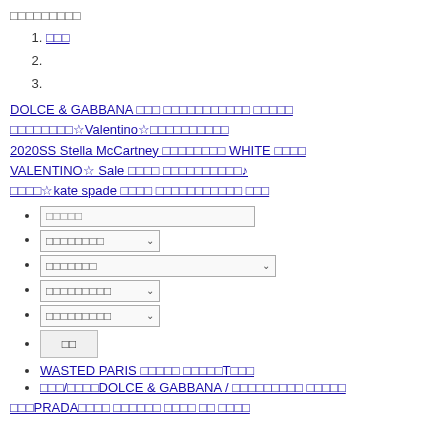□□□□□□□□□
1. □□□
2.
3.
DOLCE & GABBANA □□□ □□□□□□□□□□□ □□□□□ □□□□□□□□☆Valentino☆□□□□□□□□□□
2020SS Stella McCartney □□□□□□□□ WHITE □□□□
VALENTINO☆ Sale □□□□ □□□□□□□□□□♪
□□□□☆kate spade □□□□ □□□□□□□□□□□ □□□
□□□□□ [input]
□□□□□□□□ [dropdown]
□□□□□□□ [dropdown wide]
□□□□□□□□□ [dropdown]
□□□□□□□□□ [dropdown]
□□ [button]
WASTED PARIS □□□□□ □□□□□T□□□
□□□/□□□□DOLCE & GABBANA / □□□□□□□□□ □□□□□
□□□PRADA□□□□ □□□□□□ □□□□ □□ □□□□